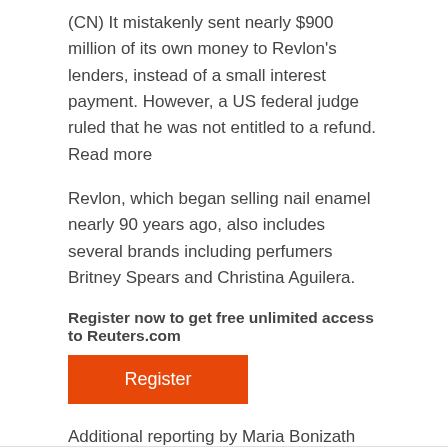(CN) It mistakenly sent nearly $900 million of its own money to Revlon's lenders, instead of a small interest payment. However, a US federal judge ruled that he was not entitled to a refund. Read more
Revlon, which began selling nail enamel nearly 90 years ago, also includes several brands including perfumers Britney Spears and Christina Aguilera.
Register now to get free unlimited access to Reuters.com
Register
Additional reporting by Maria Bonizath and Praveen Paramasivam in Bengaluru; Editing by Arun Koyor and Shunak Dasgupta
Our criteria: Thomson Reuters Trust Principles.